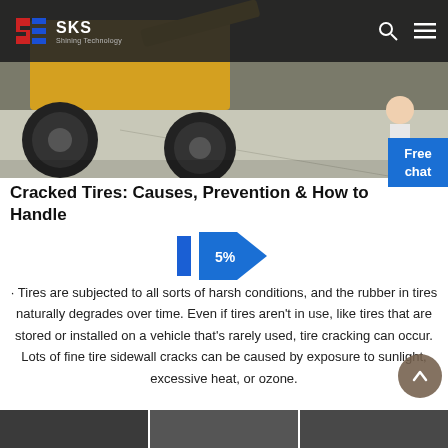SKS Shining Technology
[Figure (photo): Construction vehicle/loader with large tires on a concrete surface, outdoor setting]
Cracked Tires: Causes, Prevention & How to Handle
[Figure (infographic): Blue progress/navigation arrows with '5%' label between them]
· Tires are subjected to all sorts of harsh conditions, and the rubber in tires naturally degrades over time. Even if tires aren't in use, like tires that are stored or installed on a vehicle that's rarely used, tire cracking can occur. Lots of fine tire sidewall cracks can be caused by exposure to sunlight, excessive heat, or ozone.
[Figure (photo): Bottom thumbnail strip showing three small preview images]